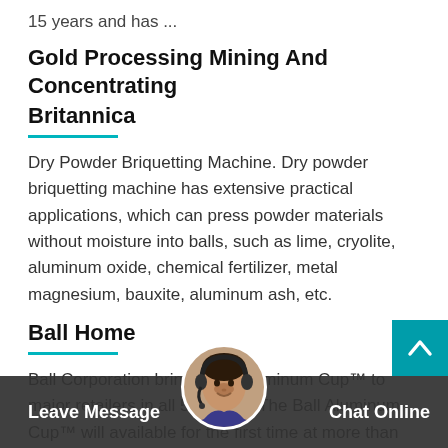15 years and has ...
Gold Processing Mining And Concentrating Britannica
Dry Powder Briquetting Machine. Dry powder briquetting machine has extensive practical applications, which can press powder materials without moisture into balls, such as lime, cryolite, aluminum oxide, chemical fertilizer, metal magnesium, bauxite, aluminum ash, etc.
Ball Home
Ball Corporation brings Ball Aluminum Cup™ to major retailers in all 50 states. The Ball Aluminum Cup™ will available for the first time at more than 18,000 food, drug and mass retailers, including Kroger, Target, Albertsons,
Leave Message   Chat Online